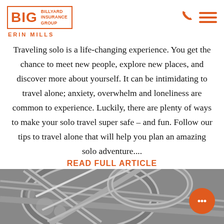[Figure (logo): BIG Billyard Insurance Group logo with orange border, BIG in large text, and ERIN MILLS subtitle]
[Figure (infographic): Orange phone icon and hamburger menu icon in top right corner]
Traveling solo is a life-changing experience. You get the chance to meet new people, explore new places, and discover more about yourself. It can be intimidating to travel alone; anxiety, overwhelm and loneliness are common to experience. Luckily, there are plenty of ways to make your solo travel super safe – and fun. Follow our tips to travel alone that will help you plan an amazing solo adventure....
READ FULL ARTICLE
[Figure (photo): Aerial black and white photograph of highway interchange with cars and roads]